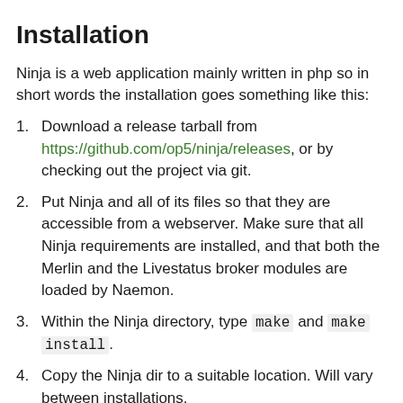Installation
Ninja is a web application mainly written in php so in short words the installation goes something like this:
Download a release tarball from https://github.com/op5/ninja/releases, or by checking out the project via git.
Put Ninja and all of its files so that they are accessible from a webserver. Make sure that all Ninja requirements are installed, and that both the Merlin and the Livestatus broker modules are loaded by Naemon.
Within the Ninja directory, type make and make install.
Copy the Ninja dir to a suitable location. Will vary between installations.